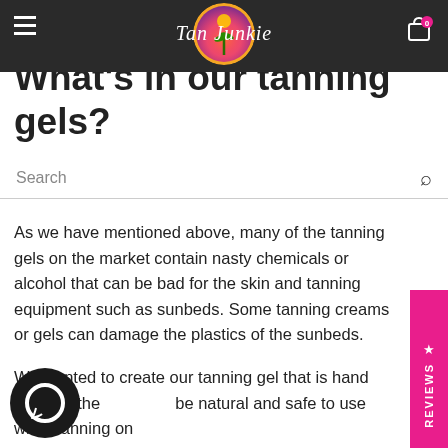Tan Junkie
What's in our tanning gels?
Search
As we have mentioned above, many of the tanning gels on the market contain nasty chemicals or alcohol that can be bad for the skin and tanning equipment such as sunbeds. Some tanning creams or gels can damage the plastics of the sunbeds.
We wanted to create our tanning gel that is hand made in the UK, be natural and safe to use while tanning on